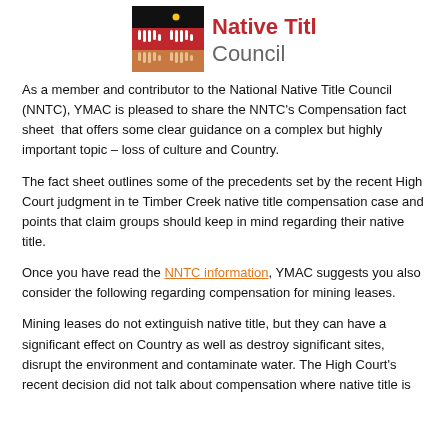[Figure (logo): National Native Title Council logo: Aboriginal flag-inspired graphic with red and tan hand shapes on black background, alongside red 'Native Title' and grey 'Council' text]
As a member and contributor to the National Native Title Council (NNTC), YMAC is pleased to share the NNTC's Compensation fact sheet  that offers some clear guidance on a complex but highly important topic – loss of culture and Country.
The fact sheet outlines some of the precedents set by the recent High Court judgment in te Timber Creek native title compensation case and points that claim groups should keep in mind regarding their native title.
Once you have read the NNTC information, YMAC suggests you also consider the following regarding compensation for mining leases.
Mining leases do not extinguish native title, but they can have a significant effect on Country as well as destroy significant sites, disrupt the environment and contaminate water. The High Court's recent decision did not talk about compensation where native title is